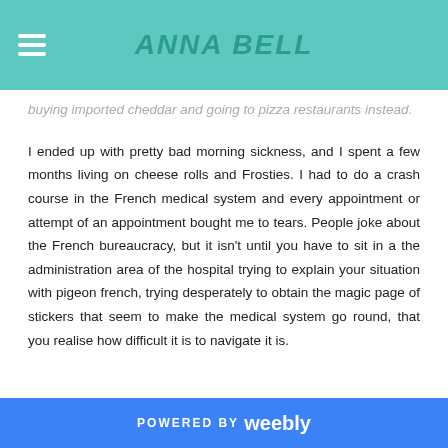ANNA BELL
buying imported cheddar and going to pizza restaurants instead.
I ended up with pretty bad morning sickness, and I spent a few months living on cheese rolls and Frosties. I had to do a crash course in the French medical system and every appointment or attempt of an appointment bought me to tears. People joke about the French bureaucracy, but it isn't until you have to sit in a the administration area of the hospital trying to explain your situation with pigeon french, trying desperately to obtain the magic page of stickers that seem to make the medical system go round, that you realise how difficult it is to navigate it is.
POWERED BY weebly